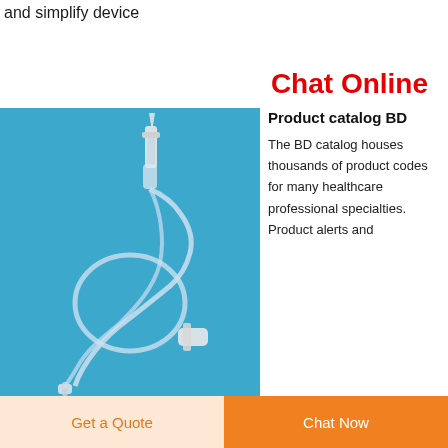and simplify device
Chat Online
[Figure (photo): Medical IV infusion set with drip chamber, clear tubing coiled on blue background, with roller clamp and needle connector]
Product catalog BD
The BD catalog houses thousands of product codes for many healthcare professional specialties. Product alerts and
Get a Quote  Chat Now